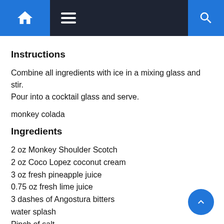Navigation bar with home icon, hamburger menu, and search icon
Instructions
Combine all ingredients with ice in a mixing glass and stir. Pour into a cocktail glass and serve.
monkey colada
Ingredients
2 oz Monkey Shoulder Scotch
2 oz Coco Lopez coconut cream
3 oz fresh pineapple juice
0.75 oz fresh lime juice
3 dashes of Angostura bitters
water splash
Pinch of salt